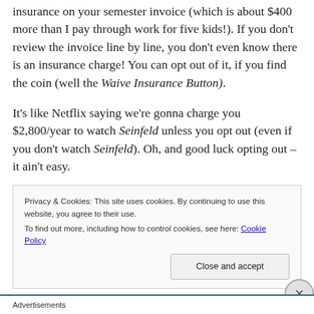insurance on your semester invoice (which is about $400 more than I pay through work for five kids!). If you don't review the invoice line by line, you don't even know there is an insurance charge! You can opt out of it, if you find the coin (well the Waive Insurance Button).
It's like Netflix saying we're gonna charge you $2,800/year to watch Seinfeld unless you opt out (even if you don't watch Seinfeld). Oh, and good luck opting out – it ain't easy.
Privacy & Cookies: This site uses cookies. By continuing to use this website, you agree to their use. To find out more, including how to control cookies, see here: Cookie Policy
Advertisements